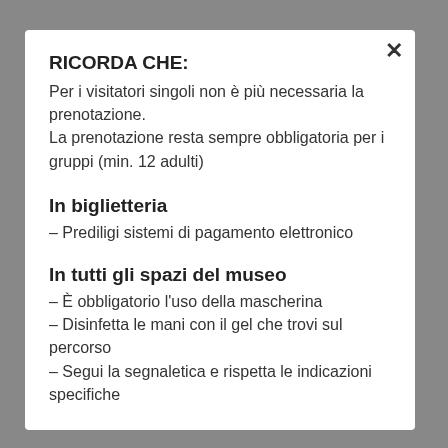RICORDA CHE:
Per i visitatori singoli non è più necessaria la prenotazione.
La prenotazione resta sempre obbligatoria per i gruppi (min. 12 adulti)
In biglietteria
– Prediligi sistemi di pagamento elettronico
In tutti gli spazi del museo
– È obbligatorio l'uso della mascherina
– Disinfetta le mani con il gel che trovi sul percorso
– Segui la segnaletica e rispetta le indicazioni specifiche